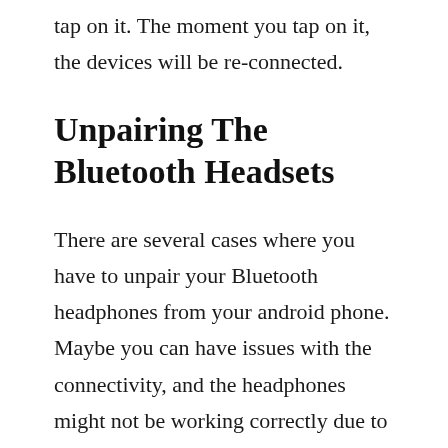tap on it. The moment you tap on it, the devices will be re-connected.
Unpairing The Bluetooth Headsets
There are several cases where you have to unpair your Bluetooth headphones from your android phone. Maybe you can have issues with the connectivity, and the headphones might not be working correctly due to this. In such a case, the best option you have got is to reboot your Bluetooth headphones. In